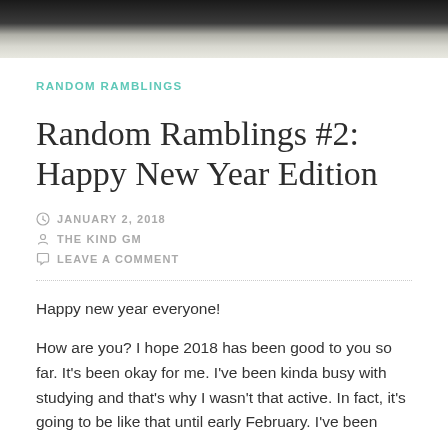[Figure (photo): Top banner photo showing a dark background with handwritten notes on paper]
RANDOM RAMBLINGS
Random Ramblings #2: Happy New Year Edition
JANUARY 2, 2018
THE KIND GM
LEAVE A COMMENT
Happy new year everyone!
How are you? I hope 2018 has been good to you so far. It's been okay for me. I've been kinda busy with studying and that's why I wasn't that active. In fact, it's going to be like that until early February. I've been